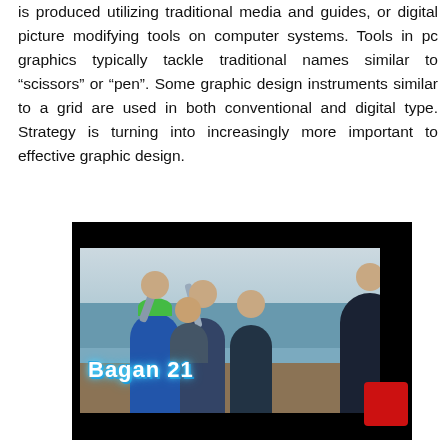is produced utilizing traditional media and guides, or digital picture modifying tools on computer systems. Tools in pc graphics typically tackle traditional names similar to “scissors” or “pen”. Some graphic design instruments similar to a grid are used in both conventional and digital type. Strategy is turning into increasingly more important to effective graphic design.
[Figure (photo): A photo of a group of people on a dock holding large fish, with text overlay reading 'Bagan 21' in blue stylized lettering. A red square appears in the bottom right corner of the video frame.]